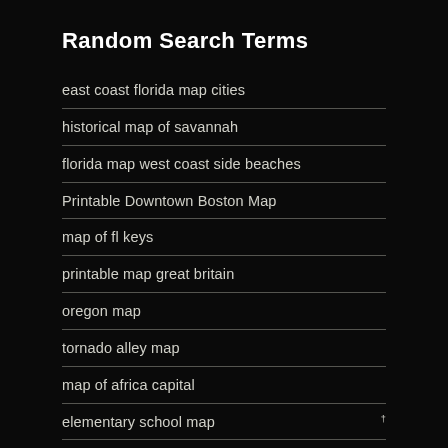Random Search Terms
east coast florida map cities
historical map of savannah
florida map west coast side beaches
Printable Downtown Boston Map
map of fl keys
printable map great britain
oregon map
tornado alley map
map of africa capital
elementary school map